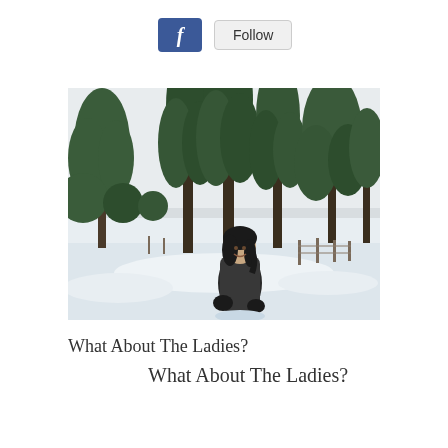[Figure (screenshot): Facebook Follow button UI element — blue Facebook 'f' icon button next to a grey 'Follow' button]
[Figure (photo): A woman standing in a snowy field with tall pine trees in the background. She has dark hair and is wearing a dark jacket. The landscape is covered in snow with a white overcast sky.]
What About The Ladies?
What About The Ladies?